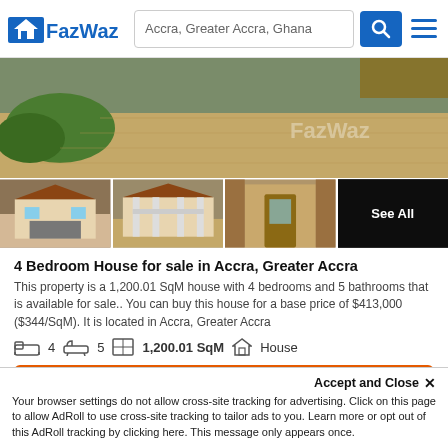FazWaz — Accra, Greater Accra, Ghana
[Figure (photo): Photo gallery of a 4 bedroom house in Accra — main large aerial/garden photo and 4 thumbnail photos of the house exterior and interior, with 'See All' overlay on last thumbnail]
4 Bedroom House for sale in Accra, Greater Accra
This property is a 1,200.01 SqM house with 4 bedrooms and 5 bathrooms that is available for sale.. You can buy this house for a base price of $413,000 ($344/SqM). It is located in Accra, Greater Accra
4   5   1,200.01 SqM   House
Request Details
Accept and Close ✕
Your browser settings do not allow cross-site tracking for advertising. Click on this page to allow AdRoll to use cross-site tracking to tailor ads to you. Learn more or opt out of this AdRoll tracking by clicking here. This message only appears once.